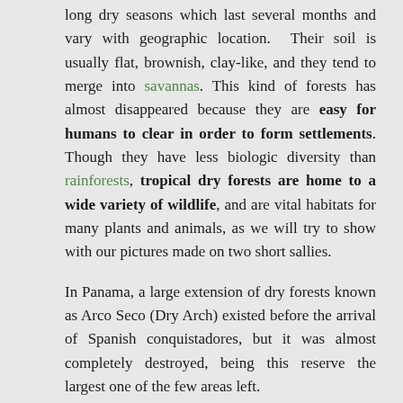long dry seasons which last several months and vary with geographic location. Their soil is usually flat, brownish, clay-like, and they tend to merge into savannas. This kind of forests has almost disappeared because they are easy for humans to clear in order to form settlements. Though they have less biologic diversity than rainforests, tropical dry forests are home to a wide variety of wildlife, and are vital habitats for many plants and animals, as we will try to show with our pictures made on two short sallies.
In Panama, a large extension of dry forests known as Arco Seco (Dry Arch) existed before the arrival of Spanish conquistadores, but it was almost completely destroyed, being this reserve the largest one of the few areas left.
Eugene Eisenmann